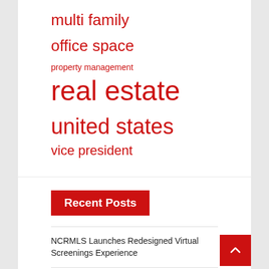multi family
office space
property management
real estate
united states
vice president
Recent Posts
NCRMLS Launches Redesigned Virtual Screenings Experience
Small: CAP rates and commercial real estate Aspen | Company
F&C UK Real Estate Investments (LON:FCRE) stock breaks below the 200-day moving average of $93.40
Black Sacramentans struggle – and get help